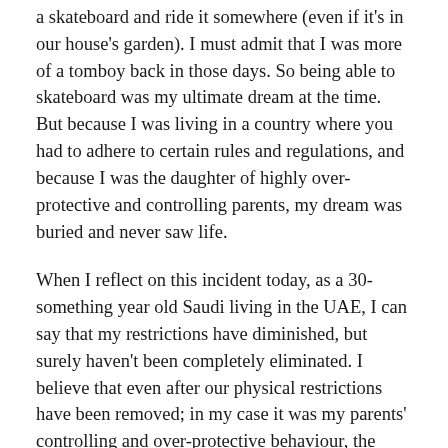a skateboard and ride it somewhere (even if it's in our house's garden). I must admit that I was more of a tomboy back in those days. So being able to skateboard was my ultimate dream at the time. But because I was living in a country where you had to adhere to certain rules and regulations, and because I was the daughter of highly over-protective and controlling parents, my dream was buried and never saw life.
When I reflect on this incident today, as a 30-something year old Saudi living in the UAE, I can say that my restrictions have diminished, but surely haven't been completely eliminated. I believe that even after our physical restrictions have been removed; in my case it was my parents' controlling and over-protective behaviour, the effects and imprints of those conditioned beliefs continue to haunt us.